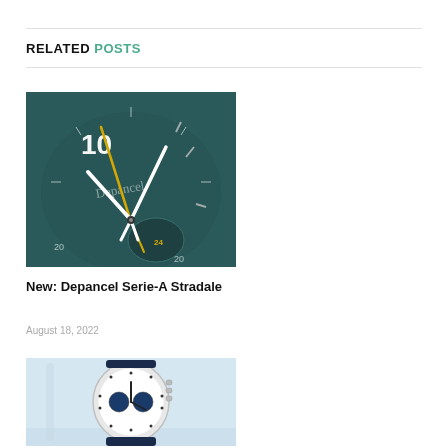RELATED POSTS
[Figure (photo): Close-up of a Depancel watch face with teal/dark green dial, gold/yellow second hand, silver hour and minute hands, showing number 10 at top]
New: Depancel Serie-A Stradale
August 18, 2022
[Figure (photo): A chronograph wristwatch with white dial, blue subdials, silver case and dark navy strap, on a light blue background]